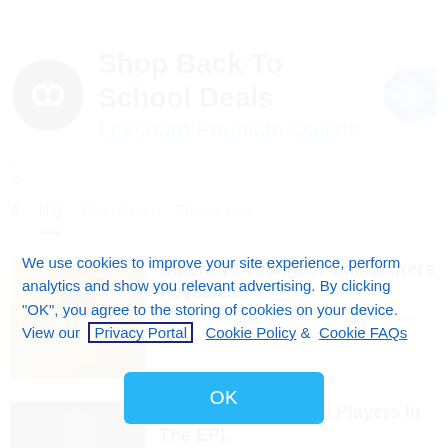[Figure (other): Advertisement banner: black circle logo with infinity symbol, text 'Shop Back To School Deals' and 'Leesburg Premium Outlets', blue diamond arrow icon on right]
ling   Most Read   Editors Pick
[Figure (photo): Soccer player in yellow jersey making peace sign gesture, orange/yellow background]
Chiefs 10 Youngest Goalscorers Revealed!
22  Aug 11, 2022 10:59 AM in Kaizer Chiefs
[Figure (photo): Soccer player in dark setting, partially visible]
The 10 Highest-Paid Players In The EPL
We use cookies to improve your site experience, perform analytics and show you relevant advertising. By clicking "OK", you agree to the storing of cookies on your device. View our Privacy Portal  Cookie Policy &  Cookie FAQs
OK